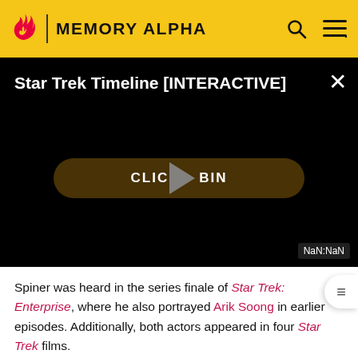MEMORY ALPHA
[Figure (screenshot): Video player showing 'Star Trek Timeline [INTERACTIVE]' with a black background, play button overlay on a dark gold 'CLICK TO BEGIN' rounded button, close (X) button top right, and 'NaN:NaN' timestamp label bottom right.]
Spiner was heard in the series finale of Star Trek: Enterprise, where he also portrayed Arik Soong in earlier episodes. Additionally, both actors appeared in four Star Trek films.
Evan Evagora, Michelle Hurd and Santiago Cabrera